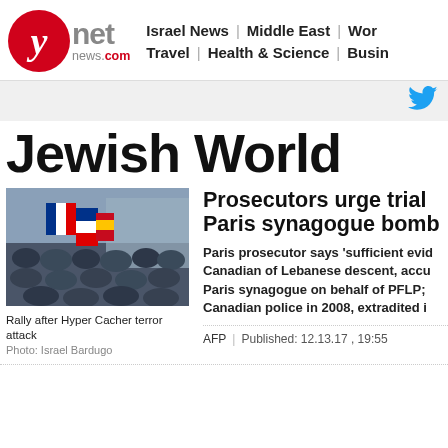[Figure (logo): Ynet news.com logo with red circle Y and grey 'net' text, navigation links: Israel News | Middle East | Worl, Travel | Health & Science | Busin]
Israel News | Middle East | Worl
Travel | Health & Science | Busin
[Figure (logo): Twitter bird icon in teal/blue]
Jewish World
[Figure (photo): Rally after Hyper Cacher terror attack, people with flags in street]
Rally after Hyper Cacher terror attack
Photo: Israel Bardugo
Prosecutors urge trial Paris synagogue bomb
Paris prosecutor says 'sufficient evid Canadian of Lebanese descent, accu Paris synagogue on behalf of PFLP; Canadian police in 2008, extradited i
AFP | Published: 12.13.17, 19:55